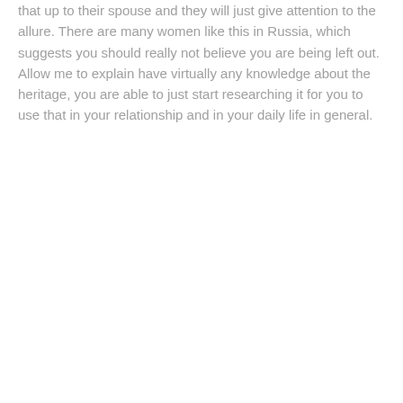that up to their spouse and they will just give attention to the allure. There are many women like this in Russia, which suggests you should really not believe you are being left out. Allow me to explain have virtually any knowledge about the heritage, you are able to just start researching it for you to use that in your relationship and in your daily life in general.